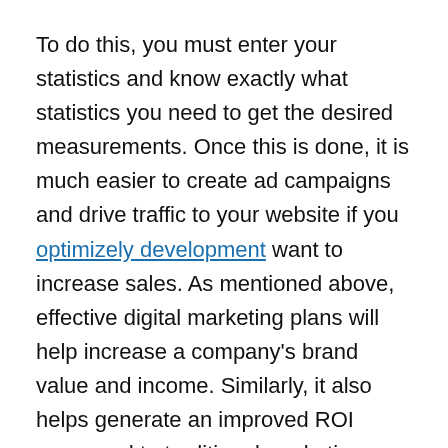To do this, you must enter your statistics and know exactly what statistics you need to get the desired measurements. Once this is done, it is much easier to create ad campaigns and drive traffic to your website if you optimizely development want to increase sales. As mentioned above, effective digital marketing plans will help increase a company's brand value and income. Similarly, it also helps generate an improved ROI compared to traditional marketing.
Traditional marketing allows you to place a print ad in a magazine read by consumers who are likely to buy your product or service. This is a great way to gain fame in your target market and build brand recognition. However, this publication is unlikely to reach all